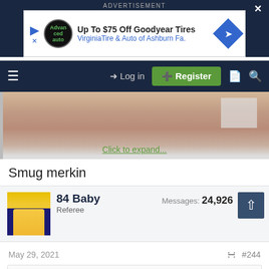[Figure (screenshot): Advertisement banner: Up To $75 Off Goodyear Tires - VirginiaTire & Auto of Ashburn Fa.]
[Figure (screenshot): Navigation bar with hamburger menu, Log in link, Register button, document icon, search icon]
[Figure (photo): Blurred/cropped photo of a person's head with white hair, partially visible]
Click to expand...
Smug merkin
84 Baby
Referee
Messages: 24,926
May 29, 2021
#244
Poupou Escobar said: